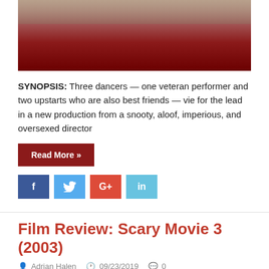[Figure (photo): Top portion of a movie image with dark red/maroon background, partially cropped]
SYNOPSIS: Three dancers — one veteran performer and two upstarts who are also best friends — vie for the lead in a new production from a snooty, aloof, imperious, and oversexed director
Read More »
[Figure (infographic): Social media share buttons: Facebook (f), Twitter (bird icon), Google+ (G+), LinkedIn (in)]
Film Review: Scary Movie 3 (2003)
Adrian Halen   09/23/2019   0
[Figure (photo): Scary Movie 3 DVD cover showing MOVIE 3 title in red letters, subtitle (SCARY MOVIE 3.5), EXCLUSIVE UNRATED VERSION badge, dark blue background with figures]